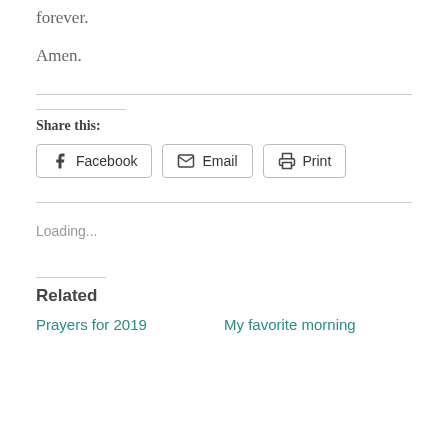forever.
Amen.
Share this:
Facebook  Email  Print
Loading...
Related
Prayers for 2019
My favorite morning